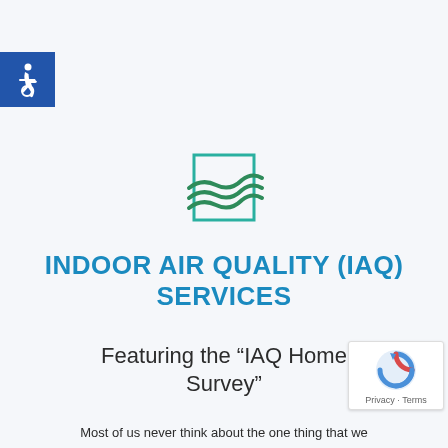[Figure (logo): Accessibility wheelchair icon — white icon on blue square background, top-left corner]
[Figure (logo): Indoor Air Quality Services logo — square teal outline with green flowing wave/leaf shapes inside]
INDOOR AIR QUALITY (IAQ) SERVICES
Featuring the “IAQ Home Survey”
Most of us never think about the one thing that we